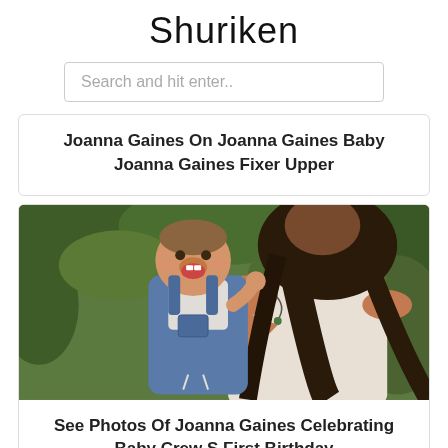Shuriken
Search and hit enter..
Joanna Gaines On Joanna Gaines Baby Joanna Gaines Fixer Upper
[Figure (photo): A woman holding a laughing baby/toddler outdoors with green foliage in background. The woman has long dark hair and wears a white tank top with a necklace. The child wears denim overalls.]
See Photos Of Joanna Gaines Celebrating Baby Crew S First Birthday